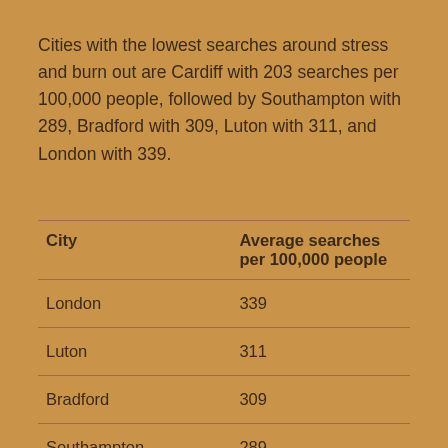Cities with the lowest searches around stress and burn out are Cardiff with 203 searches per 100,000 people, followed by Southampton with 289, Bradford with 309, Luton with 311, and London with 339.
| City | Average searches per 100,000 people |
| --- | --- |
| London | 339 |
| Luton | 311 |
| Bradford | 309 |
| Southampton | 289 |